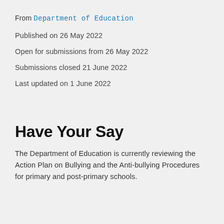From Department of Education
Published on 26 May 2022
Open for submissions from 26 May 2022
Submissions closed 21 June 2022
Last updated on 1 June 2022
Have Your Say
The Department of Education is currently reviewing the Action Plan on Bullying and the Anti-bullying Procedures for primary and post-primary schools.